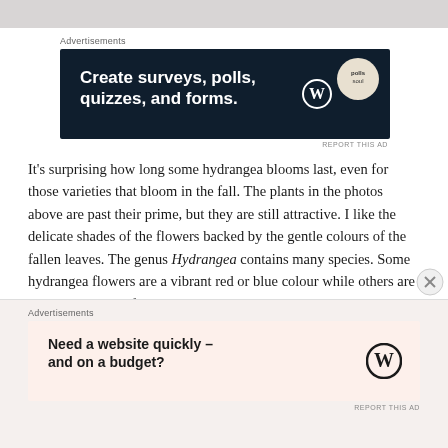[Figure (screenshot): Top advertisement banner: dark navy background with white bold text 'Create surveys, polls, quizzes, and forms.' with WordPress logo and a circular 'polls soul' badge]
It's surprising how long some hydrangea blooms last, even for those varieties that bloom in the fall. The plants in the photos above are past their prime, but they are still attractive. I like the delicate shades of the flowers backed by the gentle colours of the fallen leaves. The genus Hydrangea contains many species. Some hydrangea flowers are a vibrant red or blue colour while others are paler. Some have flowers that change colour based on the soil pH, as I describe in a previous post about hydrangeas.
[Figure (screenshot): Bottom advertisement banner: light peach background with bold text 'Need a website quickly – and on a budget?' with WordPress logo]